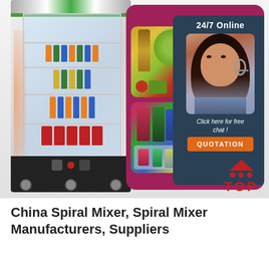[Figure (photo): Advertisement image showing a glass door display refrigerator stocked with drinks on the left, and a pink card on the right with food photos (vegetables, oil bottle, colorful bottles), plus a customer service agent chat box with 24/7 Online text, Click here for free chat!, and QUOTATION button. A red TOP logo with triangle and dots appears at bottom right of the image area.]
China Spiral Mixer, Spiral Mixer Manufacturers, Suppliers